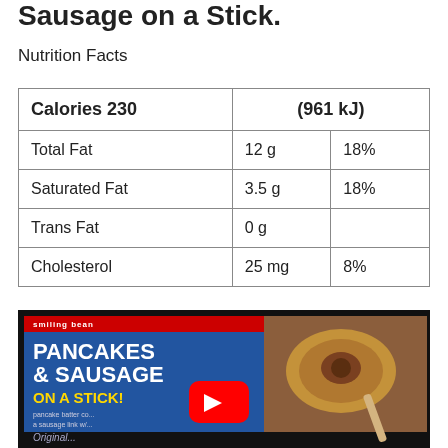Sausage on a Stick.
Nutrition Facts
| Calories 230 | (961 kJ) |
| Total Fat | 12 g | 18% |
| Saturated Fat | 3.5 g | 18% |
| Trans Fat | 0 g |  |
| Cholesterol | 25 mg | 8% |
[Figure (screenshot): Video thumbnail showing Jimmy Dean Pancakes & Sausage on a Stick packaging with a YouTube play button overlay. The package shows text 'PANCAKES & SAUSAGE ON A STICK' on a blue background, with an image of the product on the right side.]